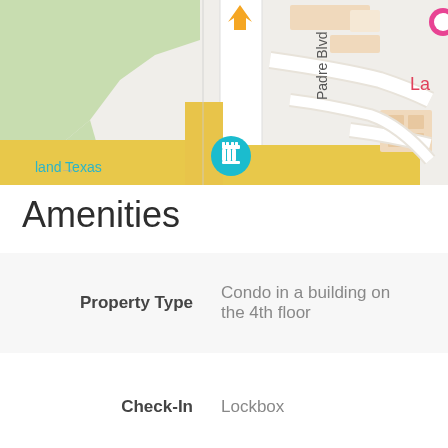[Figure (map): Street map showing Padre Blvd area in South Padre Island, Texas. Shows green areas, yellow road intersections, building footprints in beige/orange, a teal map pin with chess rook icon, an orange navigation arrow, and partial text 'La' in pink. Text labels: 'Padre Blvd', 'land Texas'.]
Amenities
| Label | Value |
| --- | --- |
| Property Type | Condo in a building on the 4th floor |
| Check-In | Lockbox |
| Elevator | Yes |